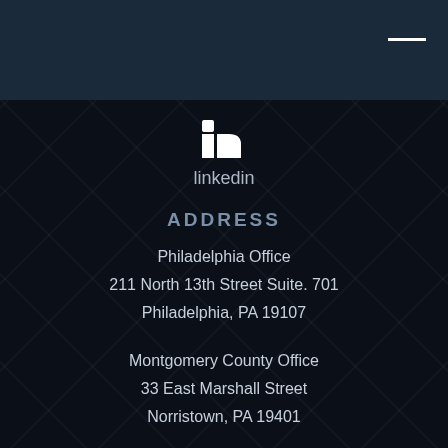[Figure (logo): LinkedIn 'in' logo icon in white on dark background]
linkedin
ADDRESS
Philadelphia Office
211 North 13th Street Suite. 701
Philadelphia, PA 19107
Montgomery County Office
33 East Marshall Street
Norristown, PA 19401
PHONE: 215-817-5281
FAX: 215-689-1581
EMAIL: matt@hagartylaw.com